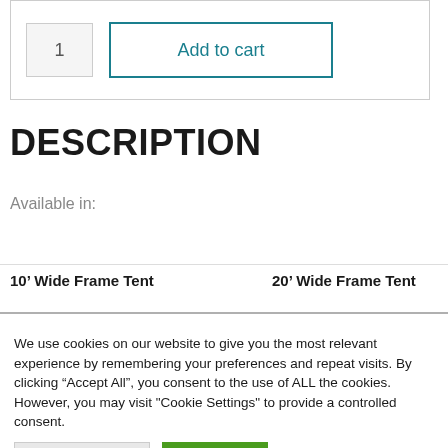[Figure (screenshot): E-commerce add to cart widget with quantity input showing '1' and a teal-bordered 'Add to cart' button]
DESCRIPTION
Available in:
10’ Wide Frame Tent      20’ Wide Frame Tent
We use cookies on our website to give you the most relevant experience by remembering your preferences and repeat visits. By clicking “Accept All”, you consent to the use of ALL the cookies. However, you may visit "Cookie Settings" to provide a controlled consent.
Cookie Settings    Accept All